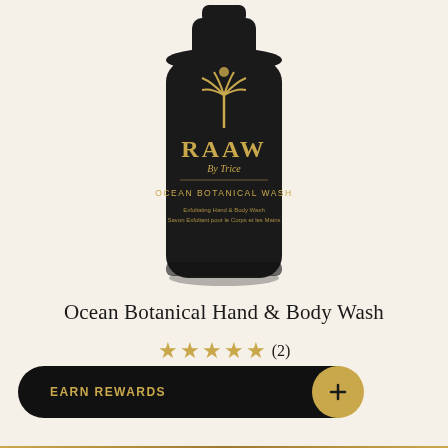[Figure (photo): Dark matte black bottle of RAAW By Trice Ocean Botanical Wash — Exfoliating Hand & Body Wash, with a gold palm tree illustration and gold text on the label, on a cream/beige background.]
Ocean Botanical Hand & Body Wash
★★★★★ (2)
€18,00
EARN REWARDS